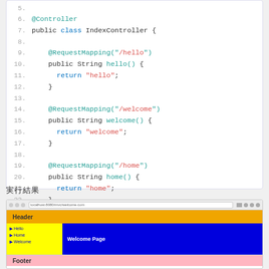[Figure (screenshot): Code editor showing Java Spring controller with @Controller annotation and three @RequestMapping methods for /hello, /welcome, and /home paths, lines 5-23]
実行結果
[Figure (screenshot): Browser screenshot showing a Spring MVC web page with orange Header, yellow navigation sidebar with links (Hello, Home, Welcome), blue main content area showing 'Welcome Page', and pink Footer]